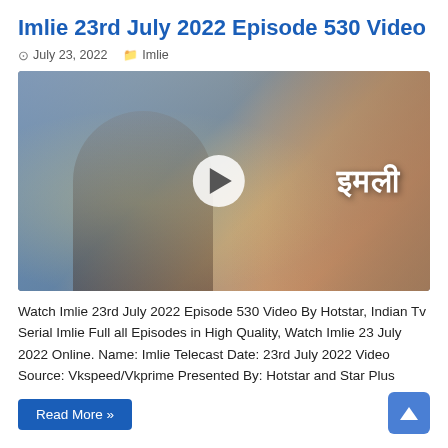Imlie 23rd July 2022 Episode 530 Video
July 23, 2022   Imlie
[Figure (photo): Promotional thumbnail for Indian TV serial Imlie showing two characters (a young woman and a man in profile) with a play button overlay and Hindi text 'इमली' on the right side]
Watch Imlie 23rd July 2022 Episode 530 Video By Hotstar, Indian Tv Serial Imlie Full all Episodes in High Quality, Watch Imlie 23 July 2022 Online. Name: Imlie Telecast Date: 23rd July 2022 Video Source: Vkspeed/Vkprime Presented By: Hotstar and Star Plus
Read More »